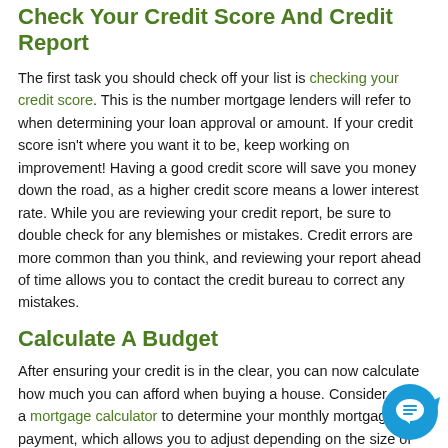Check Your Credit Score And Credit Report
The first task you should check off your list is checking your credit score. This is the number mortgage lenders will refer to when determining your loan approval or amount. If your credit score isn't where you want it to be, keep working on improvement! Having a good credit score will save you money down the road, as a higher credit score means a lower interest rate. While you are reviewing your credit report, be sure to double check for any blemishes or mistakes. Credit errors are more common than you think, and reviewing your report ahead of time allows you to contact the credit bureau to correct any mistakes.
Calculate A Budget
After ensuring your credit is in the clear, you can now calculate how much you can afford when buying a house. Consider using a mortgage calculator to determine your monthly mortgage payment, which allows you to adjust depending on the size of your down payment, the type of